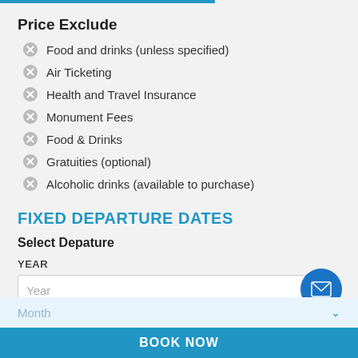Price Exclude
Food and drinks (unless specified)
Air Ticketing
Health and Travel Insurance
Monument Fees
Food & Drinks
Gratuities (optional)
Alcoholic drinks (available to purchase)
FIXED DEPARTURE DATES
Select Depature
YEAR
Year
MONTH
Month
BOOK NOW